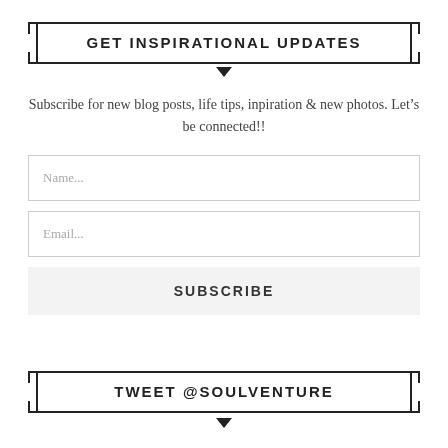GET INSPIRATIONAL UPDATES
Subscribe for new blog posts, life tips, inpiration & new photos. Let’s be connected!!
Name...
Email...
SUBSCRIBE
TWEET @SOULVENTURE